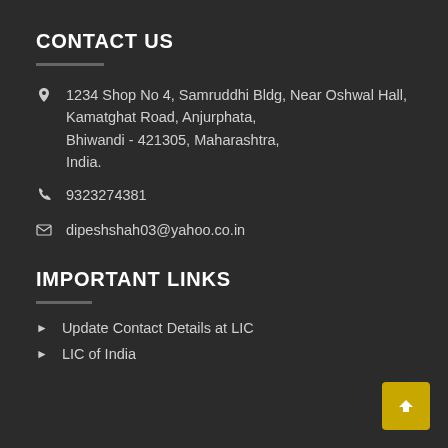CONTACT US
1234 Shop No 4, Samruddhi Bldg, Near Oshwal Hall, Kamatghat Road, Anjurphata, Bhiwandi - 421305, Maharashtra, India.
9323274381
dipeshshah03@yahoo.co.in
IMPORTANT LINKS
Update Contact Details at LIC
LIC of India